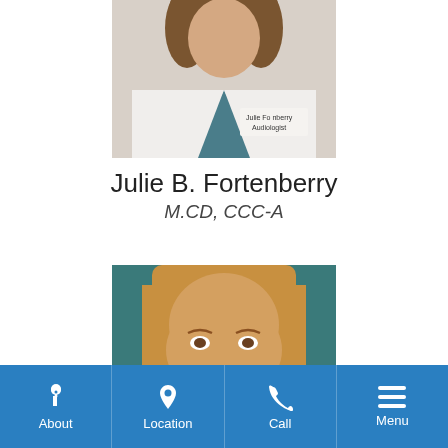[Figure (photo): Headshot photo of Julie B. Fortenberry in a white lab coat with name tag reading 'Julie Fortenberry Audiologist', wearing teal scrubs underneath, with curly hair.]
Julie B. Fortenberry
M.CD, CCC-A
[Figure (photo): Headshot photo of a young woman with straight blonde hair against a teal/blue background, cropped at forehead level showing eyes and hair.]
About  Location  Call  Menu